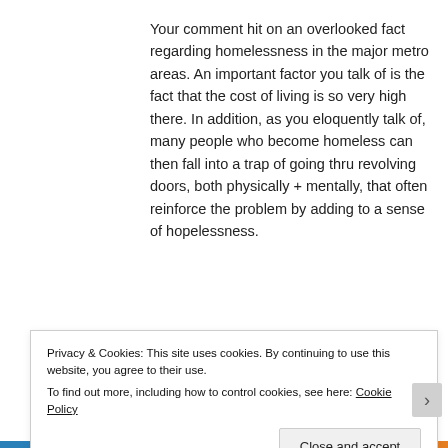Your comment hit on an overlooked fact regarding homelessness in the major metro areas. An important factor you talk of is the fact that the cost of living is so very high there. In addition, as you eloquently talk of, many people who become homeless can then fall into a trap of going thru revolving doors, both physically + mentally, that often reinforce the problem by adding to a sense of hopelessness.
As a believer in offering people a "hand...
Privacy & Cookies: This site uses cookies. By continuing to use this website, you agree to their use.
To find out more, including how to control cookies, see here: Cookie Policy